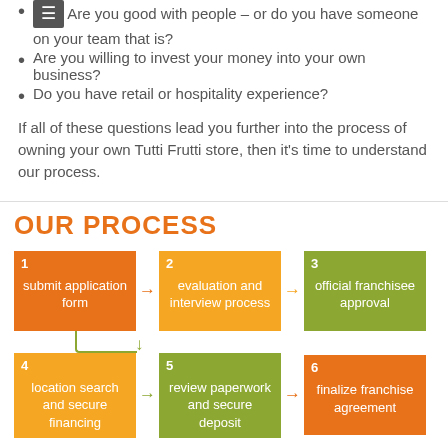Are you good with people – or do you have someone on your team that is?
Are you willing to invest your money into your own business?
Do you have retail or hospitality experience?
If all of these questions lead you further into the process of owning your own Tutti Frutti store, then it's time to understand our process.
OUR PROCESS
[Figure (flowchart): A 6-step franchise process flowchart with numbered colored boxes arranged in two rows. Row 1 (left to right): 1 submit application form (orange), arrow, 2 evaluation and interview process (yellow/amber), arrow, 3 official franchisee approval (green). Then a downward arrow connector. Row 2 (left to right): 4 location search and secure financing (yellow/amber), arrow, 5 review paperwork and secure deposit (green), arrow, 6 finalize franchise agreement (orange).]